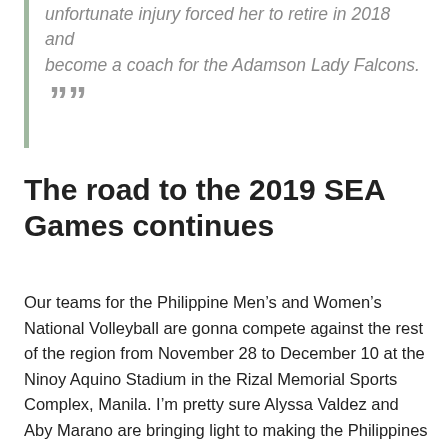unfortunate injury forced her to retire in 2018 and become a coach for the Adamson Lady Falcons. ””
The road to the 2019 SEA Games continues
Our teams for the Philippine Men’s and Women’s National Volleyball are gonna compete against the rest of the region from November 28 to December 10 at the Ninoy Aquino Stadium in the Rizal Memorial Sports Complex, Manila. I’m pretty sure Alyssa Valdez and Aby Marano are bringing light to making the Philippines a powerhouse in the international volleyball scene once again. Of course, homegrown companies like Rebisco are giving their full support to the teams, and are looking forward to help bring pride and glory to the Philippines. Together, Filipinos will again cheer for the national team fighting as Sambansa – or one nation – under the colors of our flag